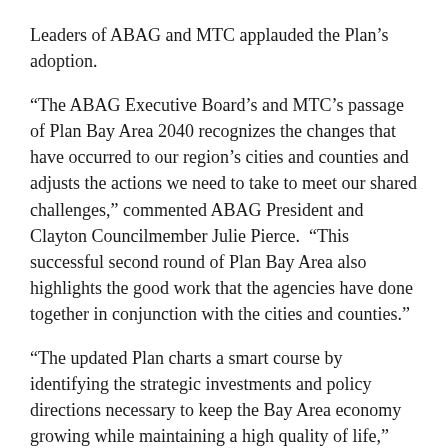Leaders of ABAG and MTC applauded the Plan's adoption.
“The ABAG Executive Board’s and MTC’s passage of Plan Bay Area 2040 recognizes the changes that have occurred to our region’s cities and counties and adjusts the actions we need to take to meet our shared challenges,” commented ABAG President and Clayton Councilmember Julie Pierce.  “This successful second round of Plan Bay Area also highlights the good work that the agencies have done together in conjunction with the cities and counties.”
“The updated Plan charts a smart course by identifying the strategic investments and policy directions necessary to keep the Bay Area economy growing while maintaining a high quality of life,” stated MTC Chair and Rohnert Park Mayor Jake Mackenzie.
The draft Plan and approved revisions can be viewed at 2040.planbayarea.org/reports ⧉. The final report integrating the comments will be available in the coming weeks at the